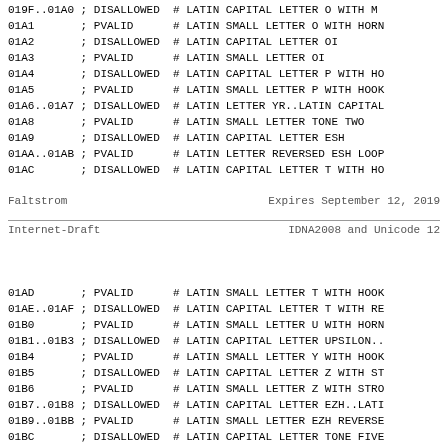019F..01A0 ; DISALLOWED # LATIN CAPITAL LETTER O WITH M
01A1       ; PVALID    # LATIN SMALL LETTER O WITH HORN
01A2       ; DISALLOWED # LATIN CAPITAL LETTER OI
01A3       ; PVALID    # LATIN SMALL LETTER OI
01A4       ; DISALLOWED # LATIN CAPITAL LETTER P WITH HO
01A5       ; PVALID    # LATIN SMALL LETTER P WITH HOOK
01A6..01A7 ; DISALLOWED # LATIN LETTER YR..LATIN CAPITAL
01A8       ; PVALID    # LATIN SMALL LETTER TONE TWO
01A9       ; DISALLOWED # LATIN CAPITAL LETTER ESH
01AA..01AB ; PVALID    # LATIN LETTER REVERSED ESH LOOP
01AC       ; DISALLOWED # LATIN CAPITAL LETTER T WITH HO
Faltstrom                    Expires September 12, 2019
Internet-Draft               IDNA2008 and Unicode 12
01AD       ; PVALID    # LATIN SMALL LETTER T WITH HOOK
01AE..01AF ; DISALLOWED # LATIN CAPITAL LETTER T WITH RE
01B0       ; PVALID    # LATIN SMALL LETTER U WITH HORN
01B1..01B3 ; DISALLOWED # LATIN CAPITAL LETTER UPSILON..
01B4       ; PVALID    # LATIN SMALL LETTER Y WITH HOOK
01B5       ; DISALLOWED # LATIN CAPITAL LETTER Z WITH ST
01B6       ; PVALID    # LATIN SMALL LETTER Z WITH STRO
01B7..01B8 ; DISALLOWED # LATIN CAPITAL LETTER EZH..LATI
01B9..01BB ; PVALID    # LATIN SMALL LETTER EZH REVERSE
01BC       ; DISALLOWED # LATIN CAPITAL LETTER TONE FIVE